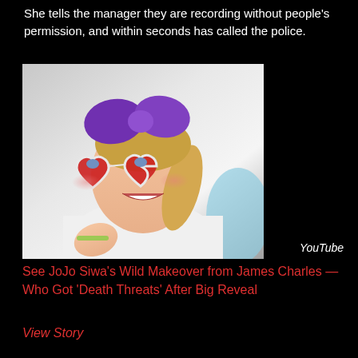She tells the manager they are recording without people's permission, and within seconds has called the police.
[Figure (photo): Young girl wearing heart-shaped red sunglasses and a large purple bow in her hair, dressed in a white hoodie, smiling and waving. Source credit: YouTube]
YouTube
See JoJo Siwa's Wild Makeover from James Charles — Who Got 'Death Threats' After Big Reveal
View Story